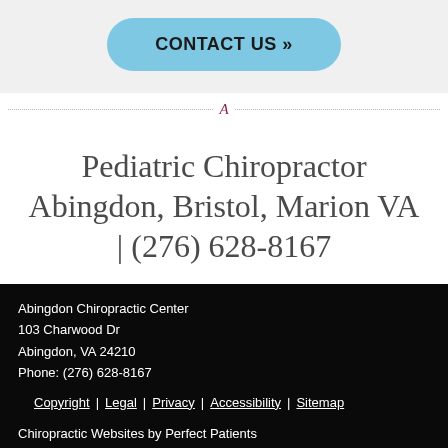[Figure (other): A light blue rounded button labeled CONTACT US »]
A (dotted divider line with letter A in the center)
Pediatric Chiropractor Abingdon, Bristol, Marion VA | (276) 628-8167
Abingdon Chiropractic Center
103 Charwood Dr
Abingdon, VA 24210
Phone: (276) 628-8167
Copyright | Legal | Privacy | Accessibility | Sitemap
Chiropractic Websites by Perfect Patients